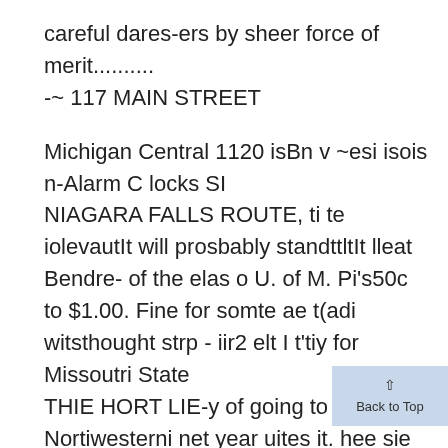careful dares-ers by sheer force of merit..........
-~ 117 MAIN STREET
Michigan Central 1120 isBn v ~esi isois n-Alarm C locks SI
NIAGARA FALLS ROUTE, ti te iolevautIt will prosbably standttltIt lleat Bendre- of the elas o U. of M. Pi's50c to $1.00. Fine for somte ae t(adi witsthought strp - iir2 elt I t'tiy for Missoutri State
THIE HORT LIE-y of going to Nortiwesterni net year uites it. hee sie siltliave etre «atch Rlepaising a Specialty.